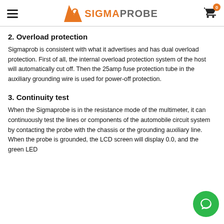SIGMAPROBE
2. Overload protection
Sigmaprob is consistent with what it advertises and has dual overload protection. First of all, the internal overload protection system of the host will automatically cut off. Then the 25amp fuse protection tube in the auxiliary grounding wire is used for power-off protection.
3. Continuity test
When the Sigmaprobe is in the resistance mode of the multimeter, it can continuously test the lines or components of the automobile circuit system by contacting the probe with the chassis or the grounding auxiliary line. When the probe is grounded, the LCD screen will display 0.0, and the green LED